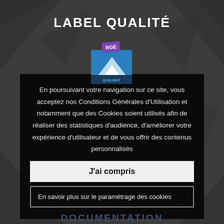LABEL QUALITÉ
[Figure (logo): RGE Qualibat logo — blue and white mountain/chevron shape with 'RGE' purple badge on top and 'QUALIBAT' text below]
En poursuivant votre navigation sur ce site, vous acceptez nos Conditions Générales d'Utilisation et notamment que des Cookies soient utilisés afin de réaliser des statistiques d'audience, d'améliorer votre expérience d'utilisateur et de vous offrir des contenus personnalisés
J'ai compris
En savoir plus sur le paramétrage des cookies
DOCUMENTATION
Une bibliothèque de publications au format PDF est disponible sur cette page.
CONSULTEZ NOS CATALOGUES